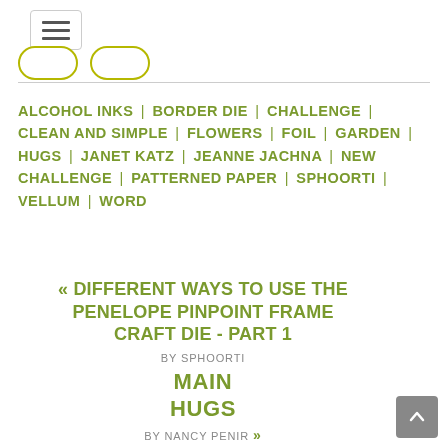[Figure (other): Hamburger menu icon button]
[Figure (other): Two rounded pill-shaped navigation buttons]
ALCOHOL INKS | BORDER DIE | CHALLENGE | CLEAN AND SIMPLE | FLOWERS | FOIL | GARDEN | HUGS | JANET KATZ | JEANNE JACHNA | NEW CHALLENGE | PATTERNED PAPER | SPHOORTI | VELLUM | WORD
« DIFFERENT WAYS TO USE THE PENELOPE PINPOINT FRAME CRAFT DIE - PART 1 BY SPHOORTI MAIN HUGS BY NANCY PENIR »